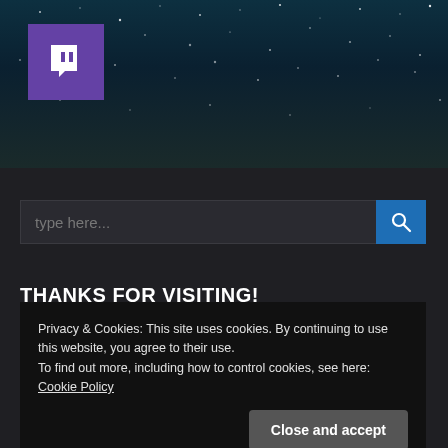[Figure (screenshot): Twitch logo on dark starry background hero image]
type here...
THANKS FOR VISITING!
4,326 Visits
Privacy & Cookies: This site uses cookies. By continuing to use this website, you agree to their use.
To find out more, including how to control cookies, see here: Cookie Policy
Close and accept
Join 341 other subscribers